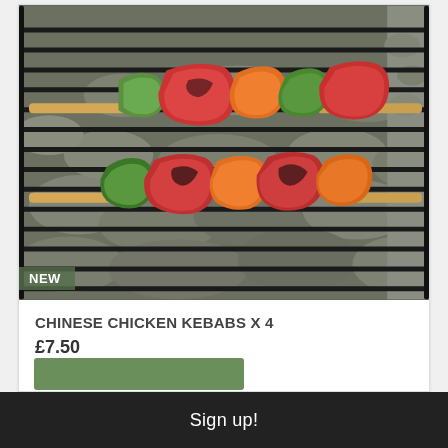[Figure (photo): Two chicken kebab skewers with red and green peppers grilling on a barbecue grill over charcoal. A green 'NEW' badge is overlaid in the bottom-left corner of the image.]
CHINESE CHICKEN KEBABS X 4
£7.50
Weight: 100g
Serves: 4
Sign up!